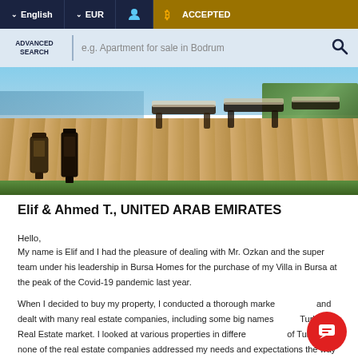English  EUR  ACCEPTED
[Figure (screenshot): Website navigation bar with language selector (English), currency selector (EUR), user icon, and Bitcoin Accepted badge on dark navy background with gold section]
[Figure (screenshot): Advanced Search bar with placeholder text 'e.g. Apartment for sale in Bodrum' and search icon on light blue background]
[Figure (photo): Hero photograph showing a luxury outdoor deck area with wooden planking, sun loungers/chairs, decorative lanterns in foreground, green grass, and pool area in background]
Elif & Ahmed T., UNITED ARAB EMIRATES
Hello,
My name is Elif and I had the pleasure of dealing with Mr. Ozkan and the super team under his leadership in Bursa Homes for the purchase of my Villa in Bursa at the peak of the Covid-19 pandemic last year.
When I decided to buy my property, I conducted a thorough market and dealt with many real estate companies, including some big names in Turkish Real Estate market. I looked at various properties in different of Turkey but none of the real estate companies addressed my needs and expectations the way Bursa Homes did.